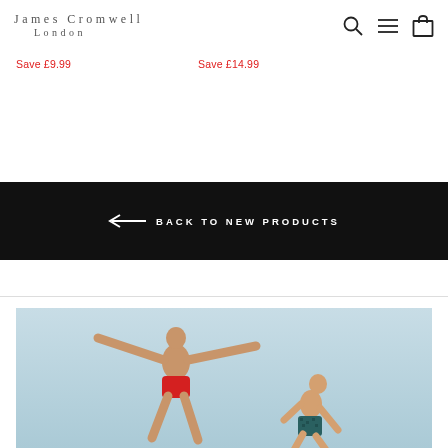James Cromwell London
Save £9.99
Save £14.99
← BACK TO NEW PRODUCTS
[Figure (photo): Two men jumping outdoors against a light sky, one wearing red swim shorts the other wearing patterned swim shorts]